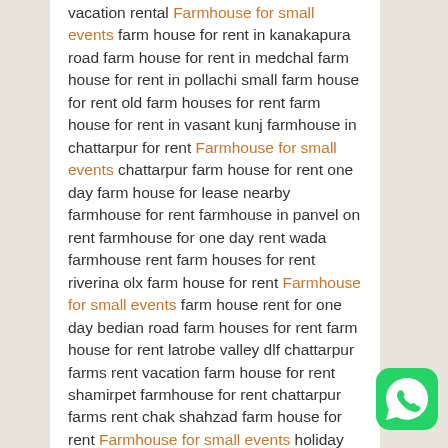vacation rental Farmhouse for small events farm house for rent in kanakapura road farm house for rent in medchal farm house for rent in pollachi small farm house for rent old farm houses for rent farm house for rent in vasant kunj farmhouse in chattarpur for rent Farmhouse for small events chattarpur farm house for rent one day farm house for lease nearby farmhouse for rent farmhouse in panvel on rent farmhouse for one day rent wada farmhouse rent farm houses for rent riverina olx farm house for rent Farmhouse for small events farm house rent for one day bedian road farm houses for rent farm house for rent latrobe valley dlf chattarpur farms rent vacation farm house for rent shamirpet farmhouse for rent chattarpur farms rent chak shahzad farm house for rent Farmhouse for small events holiday farm house for rent farmhouse on rent
[Figure (logo): WhatsApp icon - green rounded square with white phone handset inside speech bubble]